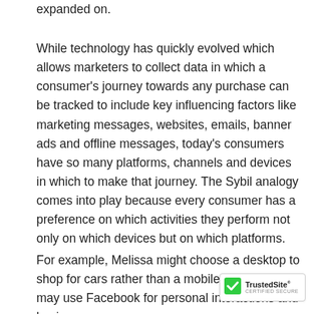expanded on.
While technology has quickly evolved which allows marketers to collect data in which a consumer's journey towards any purchase can be tracked to include key influencing factors like marketing messages, websites, emails, banner ads and offline messages, today's consumers have so many platforms, channels and devices in which to make that journey. The Sybil analogy comes into play because every consumer has a preference on which activities they perform not only on which devices but on which platforms.
For example, Melissa might choose a desktop to shop for cars rather than a mobile device. She may use Facebook for personal interactions and business...
[Figure (logo): TrustedSite CERTIFIED SECURE badge with green checkmark icon]